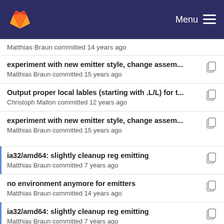GitLab Menu
Matthias Braun committed 14 years ago
experiment with new emitter style, change assem...
Matthias Braun committed 15 years ago
Output proper local lables (starting with .L/L) for t...
Christoph Mallon committed 12 years ago
experiment with new emitter style, change assem...
Matthias Braun committed 15 years ago
ia32/amd64: slightly cleanup reg emitting
Matthias Braun committed 7 years ago
no environment anymore for emitters
Matthias Braun committed 14 years ago
ia32/amd64: slightly cleanup reg emitting
Matthias Braun committed 7 years ago
Imprint